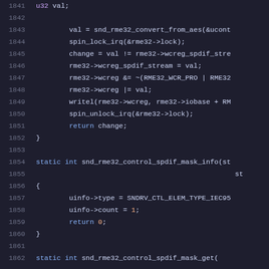Code listing lines 1841-1862, C source code for snd_rme32 ALSA driver functions including snd_rme32_control_spdif_mask_info